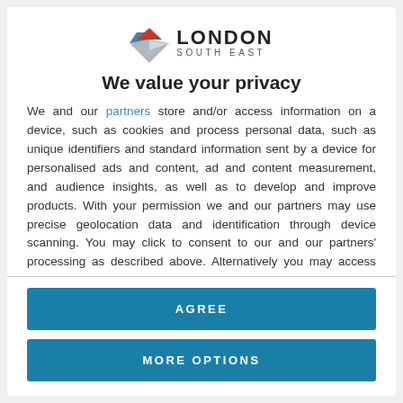[Figure (logo): London South East logo with diamond/mountain icon in red, grey, and blue, with text LONDON SOUTH EAST]
We value your privacy
We and our partners store and/or access information on a device, such as cookies and process personal data, such as unique identifiers and standard information sent by a device for personalised ads and content, ad and content measurement, and audience insights, as well as to develop and improve products. With your permission we and our partners may use precise geolocation data and identification through device scanning. You may click to consent to our and our partners' processing as described above. Alternatively you may access more detailed information and change your preferences before consenting
AGREE
MORE OPTIONS